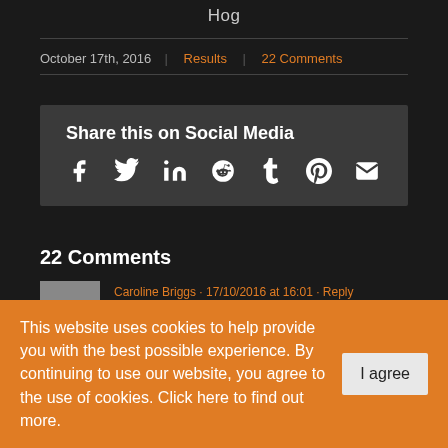Hog
October 17th, 2016 | Results | 22 Comments
[Figure (infographic): Share this on Social Media box with social media icons: Facebook, Twitter, LinkedIn, Reddit, Tumblr, Pinterest, Email]
22 Comments
Caroline Briggs · 17/10/2016 at 16:01 · Reply
This website uses cookies to help provide you with the best possible experience. By continuing to use our website, you agree to the use of cookies. Click here to find out more.